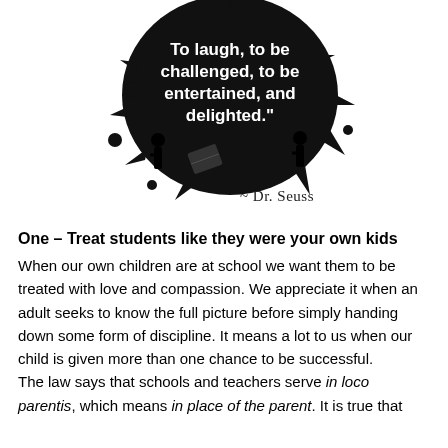[Figure (illustration): Black ink splatter / explosion graphic with white text reading 'To laugh, to be challenged, to be entertained, and delighted.' with silhouettes of figures and books]
~ Dr. Seuss
One – Treat students like they were your own kids
When our own children are at school we want them to be treated with love and compassion. We appreciate it when an adult seeks to know the full picture before simply handing down some form of discipline. It means a lot to us when our child is given more than one chance to be successful.
The law says that schools and teachers serve in loco parentis, which means in place of the parent. It is true that